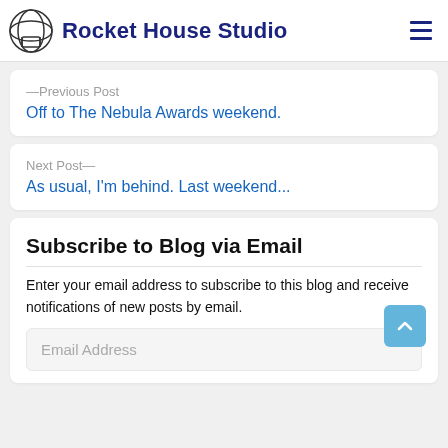Rocket House Studio
—Previous Post
Off to The Nebula Awards weekend.
Next Post—
As usual, I'm behind. Last weekend...
Subscribe to Blog via Email
Enter your email address to subscribe to this blog and receive notifications of new posts by email.
Email Address